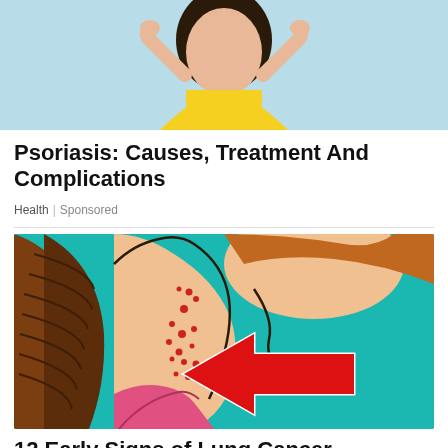[Figure (photo): Woman in yellow shirt with hands raised, light blue background — top portion of article image for psoriasis article]
Psoriasis: Causes, Treatment And Complications
Health | Sponsored
[Figure (illustration): Illustrated cartoon image of a person's neck/shoulder area showing red spots/bumps on the skin, with a large red arrow pointing to the affected area. Teal/turquoise background. Person has long braided brown hair.]
12 Early Signs of Lung Cancer